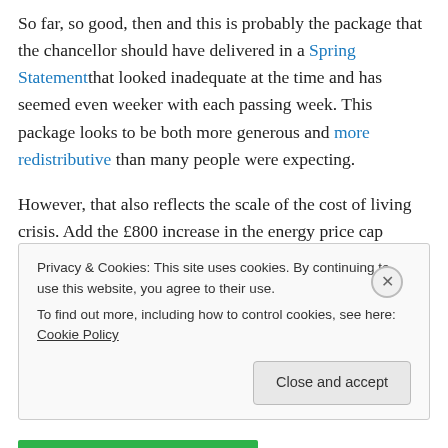So far, so good, then and this is probably the package that the chancellor should have delivered in a Spring Statement that looked inadequate at the time and has seemed even weeker with each passing week. This package looks to be both more generous and more redistributive than many people were expecting.
However, that also reflects the scale of the cost of living crisis. Add the £800 increase in the energy price cap expected in October to the £700 increase already seen in April and that is already more than the chancellor's £1,200
Privacy & Cookies: This site uses cookies. By continuing to use this website, you agree to their use. To find out more, including how to control cookies, see here: Cookie Policy